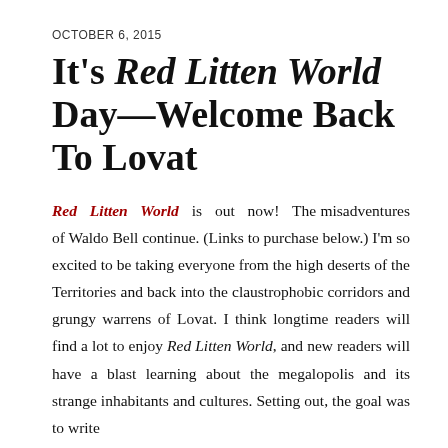OCTOBER 6, 2015
It's Red Litten World Day—Welcome Back To Lovat
Red Litten World is out now! The misadventures of Waldo Bell continue. (Links to purchase below.) I'm so excited to be taking everyone from the high deserts of the Territories and back into the claustrophobic corridors and grungy warrens of Lovat. I think longtime readers will find a lot to enjoy Red Litten World, and new readers will have a blast learning about the megalopolis and its strange inhabitants and cultures. Setting out, the goal was to write